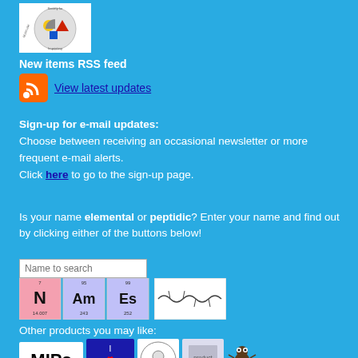[Figure (logo): Society for Molecular Imprinting logo — circular badge with colored shapes on white background]
New items RSS feed
[Figure (other): RSS feed orange icon]
View latest updates
Sign-up for e-mail updates: Choose between receiving an occasional newsletter or more frequent e-mail alerts. Click here to go to the sign-up page.
Is your name elemental or peptidic? Enter your name and find out by clicking either of the buttons below!
[Figure (other): Name search input field with text 'Name to search']
[Figure (other): Periodic table element buttons showing N, Am, Es and a peptide structure]
Other products you may like:
[Figure (other): Row of product images: MIPs text logo, I Love MIPs badge, SMI logo, product image, cartoon bug]